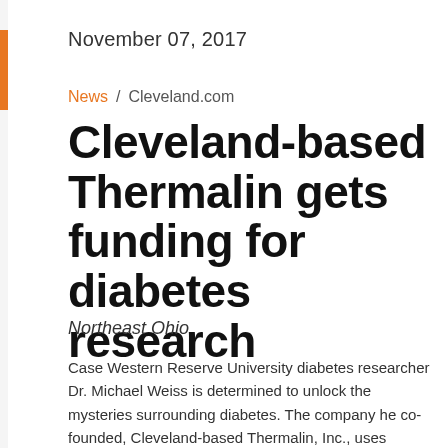November 07, 2017
News / Cleveland.com
Cleveland-based Thermalin gets funding for diabetes research
Northeast Ohio
Case Western Reserve University diabetes researcher Dr. Michael Weiss is determined to unlock the mysteries surrounding diabetes. The company he co-founded, Cleveland-based Thermalin, Inc., uses cutting-edge science to alter the insulin molecule to treat diabetes.